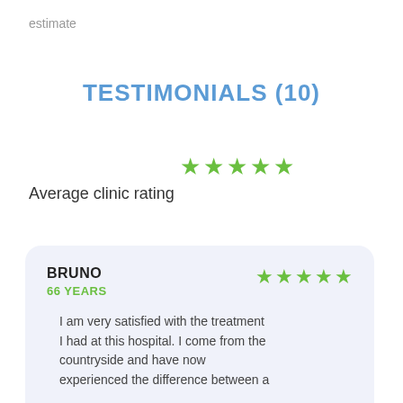estimate
TESTIMONIALS (10)
Average clinic rating
BRUNO
66 YEARS
I am very satisfied with the treatment I had at this hospital. I come from the countryside and have now experienced the difference between a